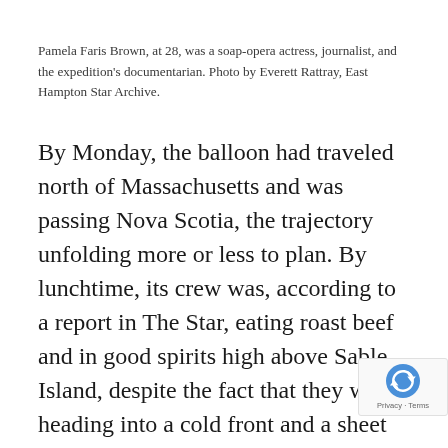Pamela Faris Brown, at 28, was a soap-opera actress, journalist, and the expedition's documentarian. Photo by Everett Rattray, East Hampton Star Archive.
By Monday, the balloon had traveled north of Massachusetts and was passing Nova Scotia, the trajectory unfolding more or less to plan. By lunchtime, its crew was, according to a report in The Star, eating roast beef and in good spirits high above Sable Island, despite the fact that they were heading into a cold front and a sheet of hard rain — and they were having serious trouble with the propane burner. The Free Life was designed for lightness, ease, and comfort, not for the impa strong rain or landing in high waves.